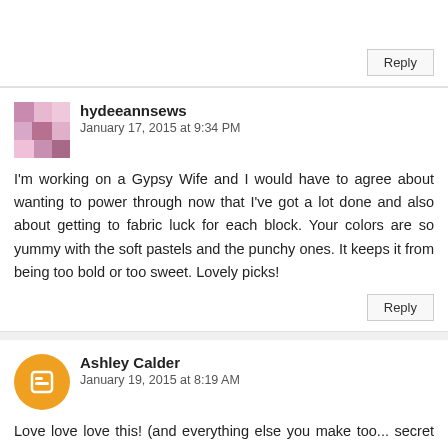Reply
hydeeannsews
January 17, 2015 at 9:34 PM
I'm working on a Gypsy Wife and I would have to agree about wanting to power through now that I've got a lot done and also about getting to fabric luck for each block. Your colors are so yummy with the soft pastels and the punchy ones. It keeps it from being too bold or too sweet. Lovely picks!
Reply
Ashley Calder
January 19, 2015 at 8:19 AM
Love love love this! (and everything else you make too... secret fan delurking!!). So happy to see this